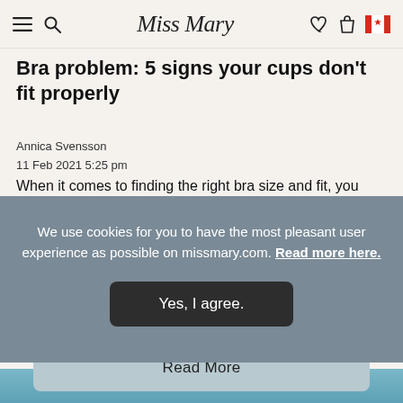Miss Mary [navigation bar with logo, hamburger menu, search, heart, bag, Canada flag]
Bra problem: 5 signs your cups don't fit properly
Annica Svensson
11 Feb 2021 5:25 pm
When it comes to finding the right bra size and fit, you shouldn't fixate on measurements and sizing
We use cookies for you to have the most pleasant user experience as possible on missmary.com. Read more here.
Yes, I agree.
Read More
[Figure (photo): Bottom portion of a person's image, teal/blue background, partially visible at the bottom of the page]